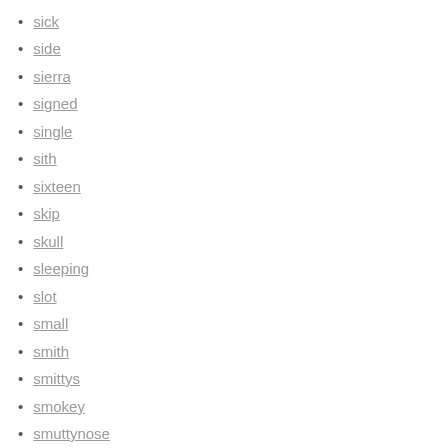sick
side
sierra
signed
single
sith
sixteen
skip
skull
sleeping
slot
small
smith
smittys
smokey
smuttynose
snap
snow
snowshoe
solid